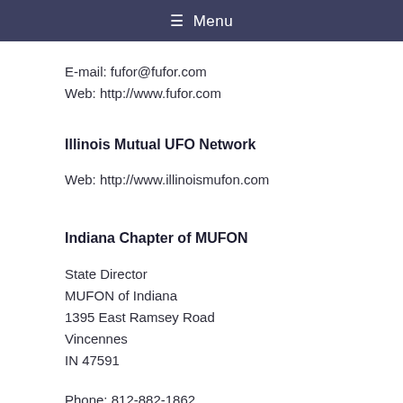☰ Menu
E-mail: fufor@fufor.com
Web: http://www.fufor.com
Illinois Mutual UFO Network
Web: http://www.illinoismufon.com
Indiana Chapter of MUFON
State Director
MUFON of Indiana
1395 East Ramsey Road
Vincennes
IN 47591
Phone: 812-882-1862
E-mail: mufon_in@hotmail.com